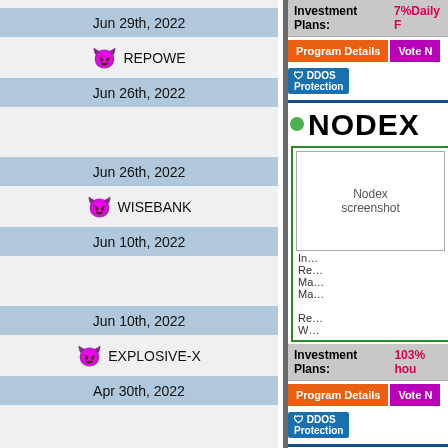Jun 29th, 2022
😈 REPOWE
Jun 26th, 2022
Jun 26th, 2022
😈 WISEBANK
Jun 10th, 2022
Jun 10th, 2022
😈 EXPLOSIVE-X
Apr 30th, 2022
Apr 30th, 2022
Investment Plans: 7%Daily F…
[Figure (screenshot): Program Details button (orange) and Vote button (purple)]
[Figure (screenshot): DDOS Protection badge]
NODEX
[Figure (screenshot): Nodex screenshot placeholder image]
Investment Plans: 103% hou…
[Figure (screenshot): Program Details button (orange) and Vote button (purple)]
[Figure (screenshot): DDOS Protection badge]
YIELDON